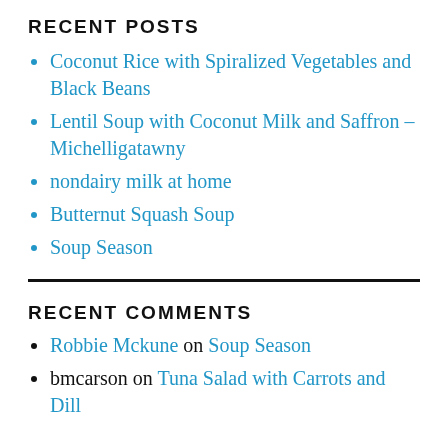RECENT POSTS
Coconut Rice with Spiralized Vegetables and Black Beans
Lentil Soup with Coconut Milk and Saffron – Michelligatawny
nondairy milk at home
Butternut Squash Soup
Soup Season
RECENT COMMENTS
Robbie Mckune on Soup Season
bmcarson on Tuna Salad with Carrots and Dill